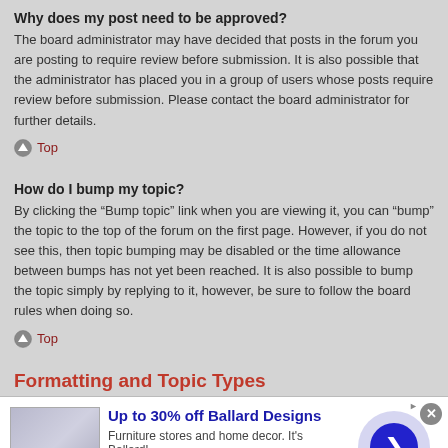Why does my post need to be approved?
The board administrator may have decided that posts in the forum you are posting to require review before submission. It is also possible that the administrator has placed you in a group of users whose posts require review before submission. Please contact the board administrator for further details.
Top
How do I bump my topic?
By clicking the “Bump topic” link when you are viewing it, you can “bump” the topic to the top of the forum on the first page. However, if you do not see this, then topic bumping may be disabled or the time allowance between bumps has not yet been reached. It is also possible to bump the topic simply by replying to it, however, be sure to follow the board rules when doing so.
Top
Formatting and Topic Types
[Figure (infographic): Advertisement banner for Ballard Designs offering up to 30% off. Shows furniture store image, headline, subtext and website URL with close button and arrow CTA.]